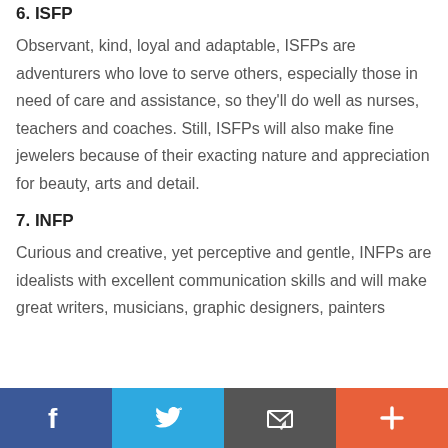6. ISFP
Observant, kind, loyal and adaptable, ISFPs are adventurers who love to serve others, especially those in need of care and assistance, so they'll do well as nurses, teachers and coaches. Still, ISFPs will also make fine jewelers because of their exacting nature and appreciation for beauty, arts and detail.
7. INFP
Curious and creative, yet perceptive and gentle, INFPs are idealists with excellent communication skills and will make great writers, musicians, graphic designers, painters